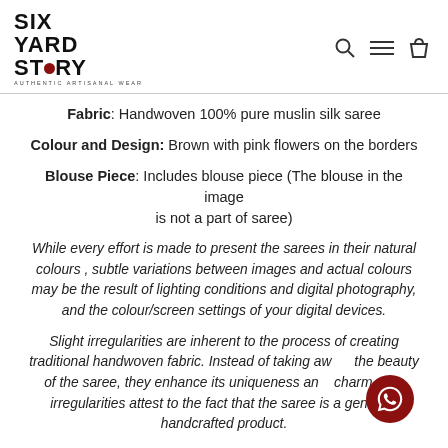SIX YARD STORY - AUTHENTIC ARTISANAL WEAR
Fabric: Handwoven 100% pure muslin silk saree
Colour and Design: Brown with pink flowers on the borders
Blouse Piece: Includes blouse piece (The blouse in the image is not a part of saree)
While every effort is made to present the sarees in their natural colours , subtle variations between images and actual colours may be the result of lighting conditions and digital photography, and the colour/screen settings of your digital devices.
Slight irregularities are inherent to the process of creating traditional handwoven fabric. Instead of taking away the beauty of the saree, they enhance its uniqueness and charm. The irregularities attest to the fact that the saree is a genuine, handcrafted product.